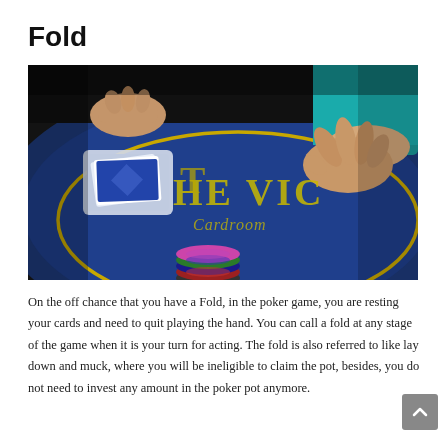Fold
[Figure (photo): A poker table with blue felt branded 'THE VIC Cardroom'. A player's hands are shown folding cards, with poker chips and a card shuffle tray visible on the table.]
On the off chance that you have a Fold, in the poker game, you are resting your cards and need to quit playing the hand. You can call a fold at any stage of the game when it is your turn for acting. The fold is also referred to like lay down and muck, where you will be ineligible to claim the pot, besides, you do not need to invest any amount in the poker pot anymore.